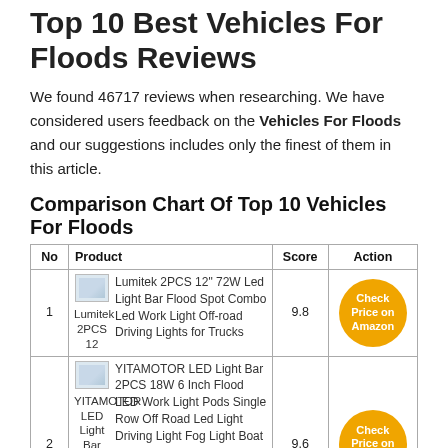Top 10 Best Vehicles For Floods Reviews
We found 46717 reviews when researching. We have considered users feedback on the Vehicles For Floods and our suggestions includes only the finest of them in this article.
Comparison Chart Of Top 10 Vehicles For Floods
| No | Product | Score | Action |
| --- | --- | --- | --- |
| 1 | Lumitek 2PCS 12" 72W Led Light Bar Flood Spot Combo Led Work Light Off-road Driving Lights for Trucks | 9.8 | Check Price on Amazon |
| 2 | YITAMOTOR LED Light Bar 2PCS 18W 6 Inch Flood LED Work Light Pods Single Row Off Road Led Light Driving Light Fog Light Boat Light Waterproof SUV ATV 4WD Car Truck Golf Cart | 9.6 | Check Price on Amazon |